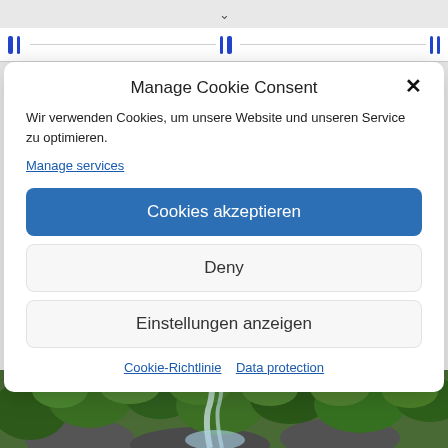[Figure (screenshot): Browser top bar with chevron/down arrow]
[Figure (screenshot): Browser address bar with blue vertical bar indicators]
Manage Cookie Consent
Wir verwenden Cookies, um unsere Website und unseren Service zu optimieren.
Manage services
Cookies akzeptieren
Deny
Einstellungen anzeigen
Cookie-Richtlinie   Data protection
[Figure (photo): Nature photo showing green foliage, waterfall and rocks at the bottom of the page]